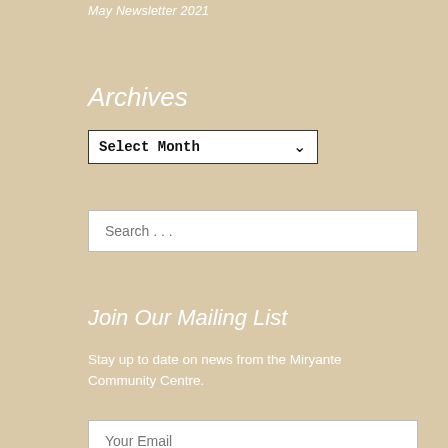May Newsletter 2021
Archives
[Figure (screenshot): A dropdown select box with 'Select Month' placeholder text and a chevron arrow]
[Figure (screenshot): A search input box with placeholder text 'Search ...']
Join Our Mailing List
Stay up to date on news from the Miryante Community Centre.
[Figure (screenshot): An email input box with placeholder text 'Your Email']